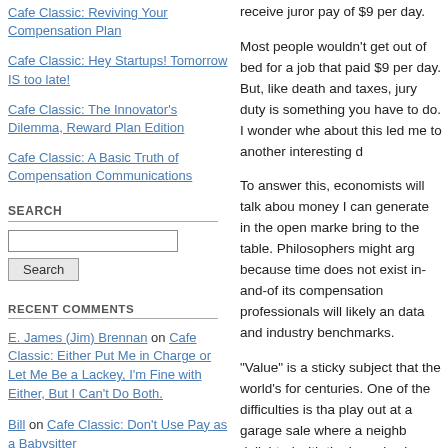Cafe Classic: Reviving Your Compensation Plan
Cafe Classic: Hey Startups! Tomorrow IS too late!
Cafe Classic: The Innovator's Dilemma, Reward Plan Edition
Cafe Classic: A Basic Truth of Compensation Communications
SEARCH
RECENT COMMENTS
E. James (Jim) Brennan on Cafe Classic: Either Put Me in Charge or Let Me Be a Lackey, I'm Fine with Either, But I Can't Do Both.
Bill on Cafe Classic: Don't Use Pay as a Babysitter
Steve on Cafe Classic: Uncertainty Motivates No One
receive juror pay of $9 per day.
Most people wouldn't get out of bed for a job that paid $9 per day. But, like death and taxes, jury duty is something you have to do. I wonder whe... about this led me to another interesting d...
To answer this, economists will talk abou... money I can generate in the open marke... bring to the table. Philosophers might arg... because time does not exist in-and-of its... compensation professionals will likely an... data and industry benchmarks.
"Value" is a sticky subject that the world's... for centuries. One of the difficulties is tha... play out at a garage sale where a neighb... delighted with the bargain she just got, w... quizzically, asking herself why anyone wo...
Another difficulty is that the treasure from... can have different values in different con... ends meet if three hours of overtime pay... hours. Now ask her if three hours of ove...